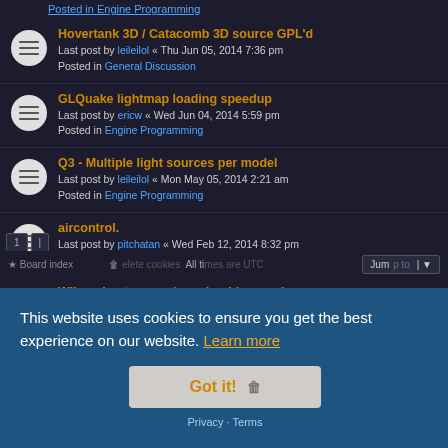Posted in Engine Programming
Hovertank 3D / Catacomb 3D source GPL'd
Last post by leileilol « Thu Jun 05, 2014 7:36 pm
Posted in General Discussion
GLQuake lightmap loading speedup
Last post by ericw « Wed Jun 04, 2014 5:59 pm
Posted in Engine Programming
Q3 - Multiple light sources per model
Last post by leileilol « Mon May 05, 2014 2:21 am
Posted in Engine Programming
aircontrol.
Last post by pitchatan « Wed Feb 12, 2014 8:32 pm
Posted in QuakeC Programming
Wii engine tune up / overhaul / upgrade
Last post by jdstoner « Sun Jan 19, 2014 6:35 pm
Posted in Engine Programming
This website uses cookies to ensure you get the best experience on our website. Learn more
Got it!
Board index   Delete cookies   All times are UTC
Privacy · Terms